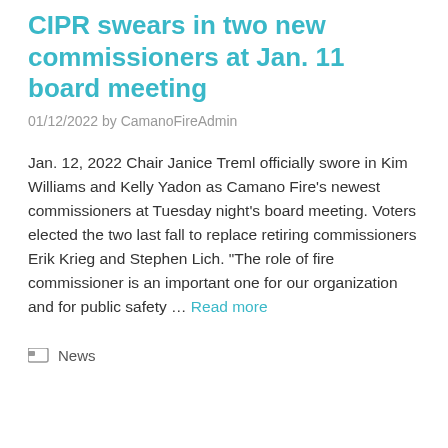CIPR swears in two new commissioners at Jan. 11 board meeting
01/12/2022 by CamanoFireAdmin
Jan. 12, 2022 Chair Janice Treml officially swore in Kim Williams and Kelly Yadon as Camano Fire’s newest commissioners at Tuesday night’s board meeting. Voters elected the two last fall to replace retiring commissioners Erik Krieg and Stephen Lich. “The role of fire commissioner is an important one for our organization and for public safety … Read more
News